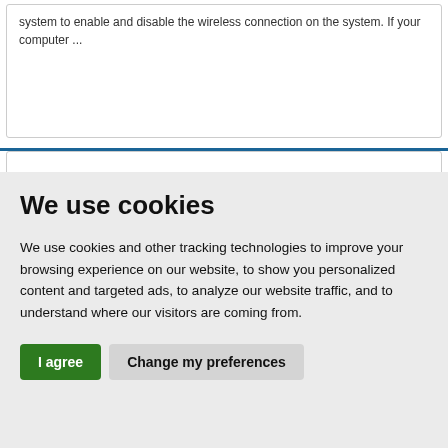system to enable and disable the wireless connection on the system. If your computer ...
We use cookies
We use cookies and other tracking technologies to improve your browsing experience on our website, to show you personalized content and targeted ads, to analyze our website traffic, and to understand where our visitors are coming from.